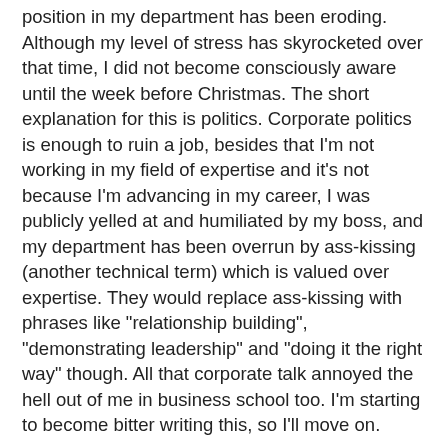position in my department has been eroding. Although my level of stress has skyrocketed over that time, I did not become consciously aware until the week before Christmas. The short explanation for this is politics. Corporate politics is enough to ruin a job, besides that I'm not working in my field of expertise and it's not because I'm advancing in my career, I was publicly yelled at and humiliated by my boss, and my department has been overrun by ass-kissing (another technical term) which is valued over expertise. They would replace ass-kissing with phrases like "relationship building", "demonstrating leadership" and "doing it the right way" though. All that corporate talk annoyed the hell out of me in business school too. I'm starting to become bitter writing this, so I'll move on.
So what to do. The stress I'm under is nearly unbearable, definitely affecting my physical and mental health. I have migraines weekly, and take anti-anxiety pills every night to get to sleep. I'm on two anti-depressants and HELLO, I have PTSD. It's not an easy condition to live with under benign circumstances, even more so when you are being yelled at among other things. My boss and co-workers talking behind my back, it is a core aspect of the right way talking...